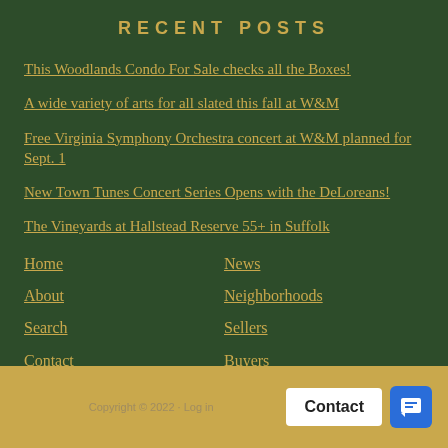RECENT POSTS
This Woodlands Condo For Sale checks all the Boxes!
A wide variety of arts for all slated this fall at W&M
Free Virginia Symphony Orchestra concert at W&M planned for Sept. 1
New Town Tunes Concert Series Opens with the DeLoreans!
The Vineyards at Hallstead Reserve 55+ in Suffolk
Home
About
Search
Contact
News
Neighborhoods
Sellers
Buyers
Copyright © 2022 · Log in · Contact